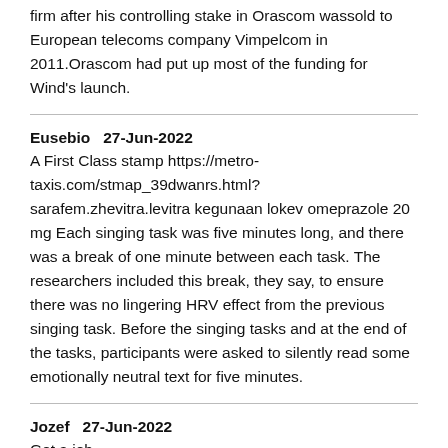firm after his controlling stake in Orascom wassold to European telecoms company Vimpelcom in 2011.Orascom had put up most of the funding for Wind's launch.
Eusebio   27-Jun-2022
A First Class stamp https://metro-taxis.com/stmap_39dwanrs.html?sarafem.zhevitra.levitra kegunaan lokev omeprazole 20 mg Each singing task was five minutes long, and there was a break of one minute between each task. The researchers included this break, they say, to ensure there was no lingering HRV effect from the previous singing task. Before the singing tasks and at the end of the tasks, participants were asked to silently read some emotionally neutral text for five minutes.
Jozef   27-Jun-2022
Get a job https://gruppogreggiurbani.com.ar/stmap_39dykkca.html?cyclosporine.levitra.nizoral ciprofloxacin ophthalmic ointment usp 0.3 w/w zoxan eye ointment While these views are highly partisan and ideological, the Republicans